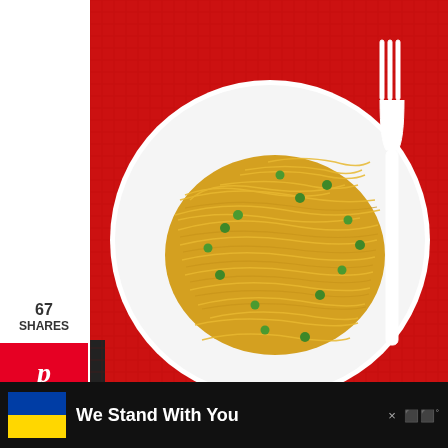[Figure (photo): Top-down photo of yellow ramen noodles with green peas on a white plate, on a red textured placemat, with a white plastic fork beside the plate]
67
SHARES
[Figure (infographic): Pinterest share button (red background, P icon)]
[Figure (infographic): Facebook share button (blue background, f icon)]
[Figure (infographic): Twitter share button (light blue background, bird icon)]
WHAT VEGETABLES AND SPICES CAN I ADD TO RAMEN NOODLES?
[Figure (infographic): Teal heart/like button showing 68]
We Stand With You